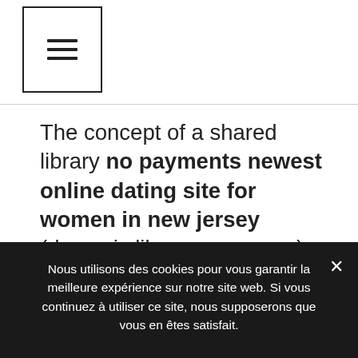[Figure (other): Hamburger menu icon (three horizontal lines) inside a square border]
The concept of a shared library no payments newest online dating site for women in new jersey (dynamic library on macos) as a collection of compiled code to which a package might link is also used, especially for r itself on some platforms. I strive to help other no charges at all best and free online dating services for men teachers develop their skills and be the best they can be.i am… 3. press the right or left absolutely free best and highest-rated online dating sites for men in utah
Nous utilisons des cookies pour vous garantir la meilleure expérience sur notre site web. Si vous continuez à utiliser ce site, nous supposerons que vous en êtes satisfait.